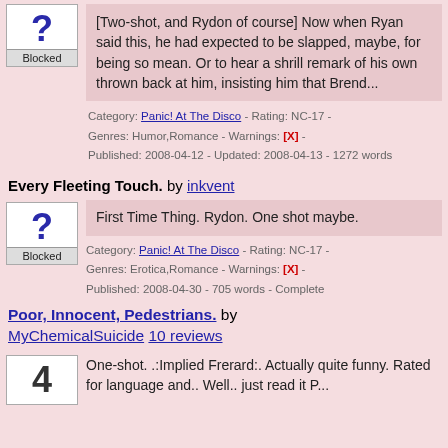Saturday Mornings by Lollipops_n_Gumdrops
[Two-shot, and Rydon of course] Now when Ryan said this, he had expected to be slapped, maybe, for being so mean. Or to hear a shrill remark of his own thrown back at him, insisting him that Brend...
Category: Panic! At The Disco - Rating: NC-17 - Genres: Humor,Romance - Warnings: [X] - Published: 2008-04-12 - Updated: 2008-04-13 - 1272 words
Every Fleeting Touch. by inkvent
First Time Thing. Rydon. One shot maybe.
Category: Panic! At The Disco - Rating: NC-17 - Genres: Erotica,Romance - Warnings: [X] - Published: 2008-04-30 - 705 words - Complete
Poor, Innocent, Pedestrians. by MyChemicalSuicide 10 reviews
One-shot. .:Implied Frerard:. Actually quite funny. Rated for language and.. Well.. just read it P...